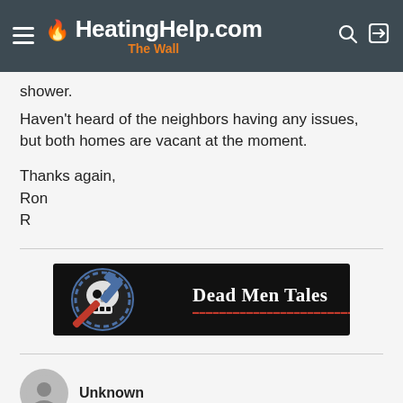HeatingHelp.com The Wall
shower.
Haven't heard of the neighbors having any issues, but both homes are vacant at the moment.
Thanks again,
Ron
R
[Figure (illustration): Dead Men Tales banner advertisement: black background with skull and crossed tools logo on left, white text 'Dead Men Tales' on right with red underline text.]
Unknown